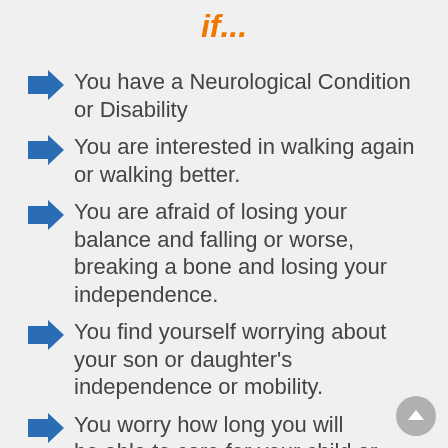if...
You have a Neurological Condition or Disability
You are interested in walking again or walking better.
You are afraid of losing your balance and falling or worse, breaking a bone and losing your independence.
You find yourself worrying about your son or daughter's independence or mobility.
You worry how long you will be able to care for your child or...